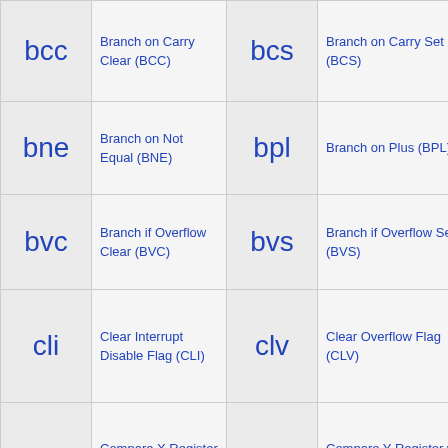| mnemonic | description | mnemonic | description |
| --- | --- | --- | --- |
| bcc | Branch on Carry Clear (BCC) | bcs | Branch on Carry Set (BCS) |
| bne | Branch on Not Equal (BNE) | bpl | Branch on Plus (BPL) |
| bvc | Branch if Overflow Clear (BVC) | bvs | Branch if Overflow Set (BVS) |
| cli | Clear Interrupt Disable Flag (CLI) | clv | Clear Overflow Flag (CLV) |
| cpx | Compare X Register with Memory (CPX) | cpy | Compare Y Register with Memory (CPY) |